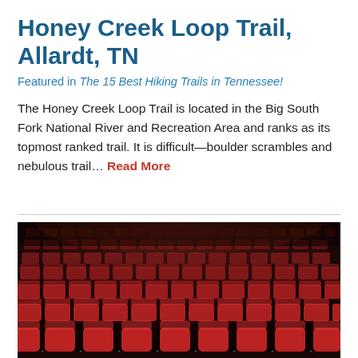Honey Creek Loop Trail, Allardt, TN
Featured in The 15 Best Hiking Trails in Tennessee!
The Honey Creek Loop Trail is located in the Big South Fork National River and Recreation Area and ranks as its topmost ranked trail. It is difficult—boulder scrambles and nebulous trail… Read More
[Figure (photo): Interior of a theater or cinema with rows of red upholstered seats, photographed from ground level looking toward the back rows. The seats are lit with dramatic lighting against a dark background.]